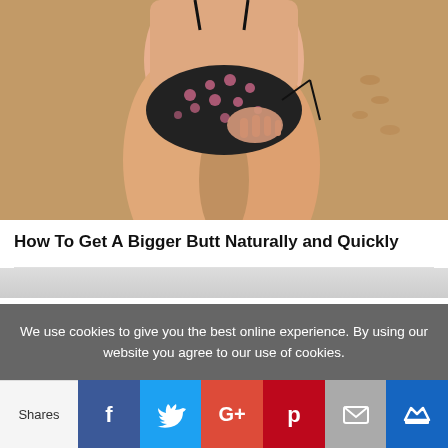[Figure (photo): Close-up photo of a woman in a black bikini bottom with pink hearts pattern at the beach, showing lower torso and thighs from behind/side view]
How To Get A Bigger Butt Naturally and Quickly
We use cookies to give you the best online experience. By using our website you agree to our use of cookies.
Shares | Facebook | Twitter | Google+ | Pinterest | Email | Crown